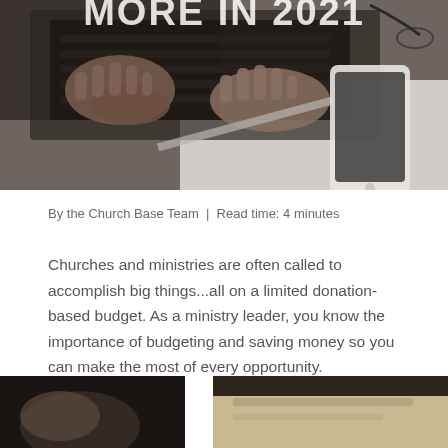[Figure (photo): Person typing on a laptop keyboard with a smartphone visible on the right side, dark moody overhead shot]
By the Church Base Team | Read time: 4 minutes
Churches and ministries are often called to accomplish big things...all on a limited donation-based budget. As a ministry leader, you know the importance of budgeting and saving money so you can make the most of every opportunity.
[Figure (photo): Two partial images at the bottom of the page, left is a dark photo and right is a light beige/tan photo]